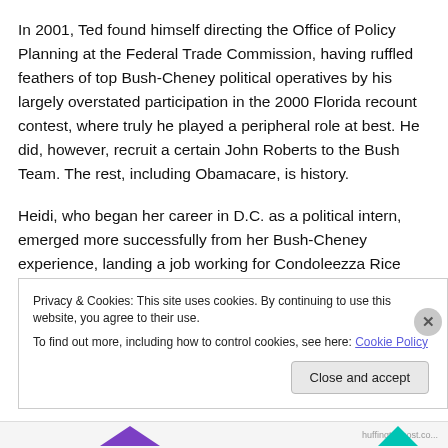In 2001, Ted found himself directing the Office of Policy Planning at the Federal Trade Commission, having ruffled feathers of top Bush-Cheney political operatives by his largely overstated participation in the 2000 Florida recount contest, where truly he played a peripheral role at best. He did, however, recruit a certain John Roberts to the Bush Team. The rest, including Obamacare, is history.
Heidi, who began her career in D.C. as a political intern, emerged more successfully from her Bush-Cheney experience, landing a job working for Condoleezza Rice
Privacy & Cookies: This site uses cookies. By continuing to use this website, you agree to their use.
To find out more, including how to control cookies, see here: Cookie Policy
Close and accept
huffingtonpost.co...